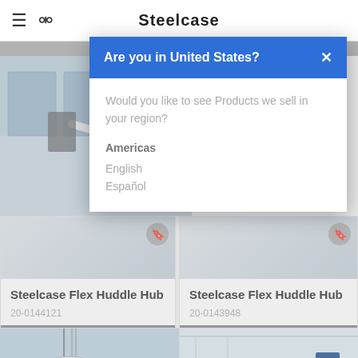Steelcase
[Figure (screenshot): Website screenshot showing a modal dialog 'Are you in United States?' overlaid on a Steelcase product listing page. The modal has a blue header, a question about regional products, and links for Americas region in English and Español. Below are product cards for Steelcase Flex Huddle Hub with download buttons.]
Are you in United States?
Would you like to see Products we sell in your region?
Americas
English
Español
Steelcase Flex Huddle Hub
20-0144121
DOWNLOAD
Steelcase Flex Huddle Hub
20-0143948
DOWNLOAD